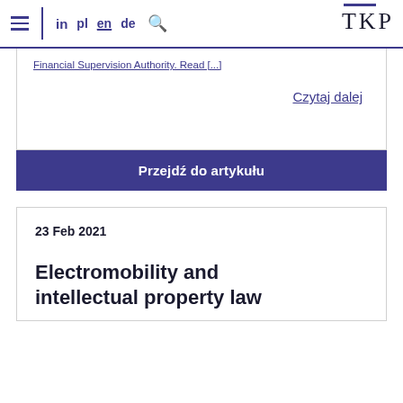TKP — in pl en de [search]
Financial Supervision Authority. Read [...]
Czytaj dalej
Przejdź do artykułu
23 Feb 2021
Electromobility and intellectual property law